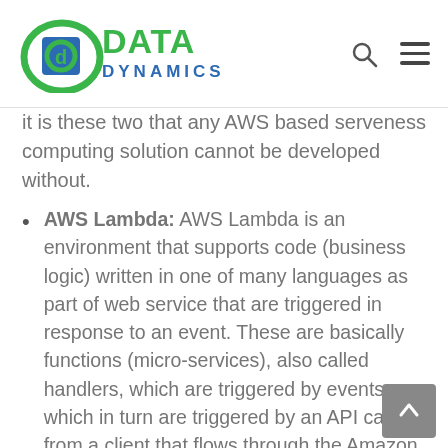Data Dynamics
it is these two that any AWS based serveness computing solution cannot be developed without.
AWS Lambda: AWS Lambda is an environment that supports code (business logic) written in one of many languages as part of web service that are triggered in response to an event. These are basically functions (micro-services), also called handlers, which are triggered by events, which in turn are triggered by an API call from a client that flows through the Amazon API Gateway. AWS Lambda provisions computing resources and scales